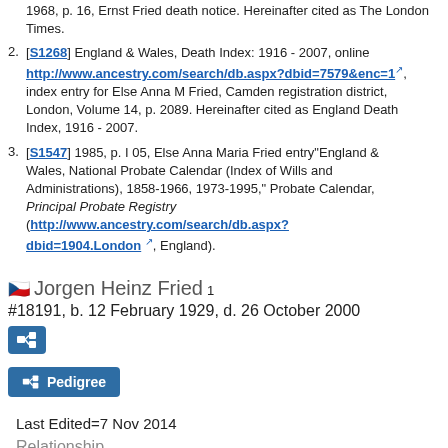1. 1968, p. 16, Ernst Fried death notice. Hereinafter cited as The London Times.
2. [S1268] England & Wales, Death Index: 1916 - 2007, online http://www.ancestry.com/search/db.aspx?dbid=7579&enc=1, index entry for Else Anna M Fried, Camden registration district, London, Volume 14, p. 2089. Hereinafter cited as England Death Index, 1916 - 2007.
3. [S1547] 1985, p. I 05, Else Anna Maria Fried entry"England & Wales, National Probate Calendar (Index of Wills and Administrations), 1858-1966, 1973-1995," Probate Calendar, Principal Probate Registry (http://www.ancestry.com/search/db.aspx?dbid=1904.London, England).
Jorgen Heinz Fried
#18191, b. 12 February 1929, d. 26 October 2000
Last Edited=7 Nov 2014
Relationship
2nd cousin 2 times removed of Alexander Cody Calzareth